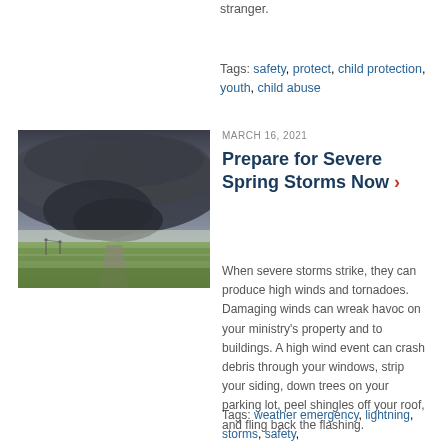stranger.
Tags: safety, protect, child protection, youth, child abuse
[Figure (photo): Storm photo showing dark dramatic storm clouds over flat green fields with a road visible]
MARCH 16, 2021
Prepare for Severe Spring Storms Now
When severe storms strike, they can produce high winds and tornadoes. Damaging winds can wreak havoc on your ministry's property and to buildings. A high wind event can crash debris through your windows, strip your siding, down trees on your parking lot, peel shingles off your roof, and fling back the flashing.
Tags: weather emergency, lightning, storms, safety,